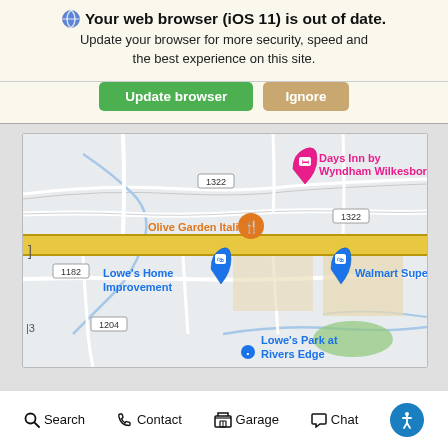🌐 Your web browser (iOS 11) is out of date. Update your browser for more security, speed and the best experience on this site.
[Figure (screenshot): Two buttons: green 'Update browser' and tan/gold 'Ignore']
[Figure (map): Google Maps screenshot showing Wilkesboro area with markers for Days Inn by Wyndham Wilkesboro, Olive Garden Italian, Lowe's Home Improvement, Walmart Supercenter, Lowe's Park at Rivers Edge, and road labels 1322, 1182, 1204.]
Search   Contact   Garage   Chat   (accessibility icon)